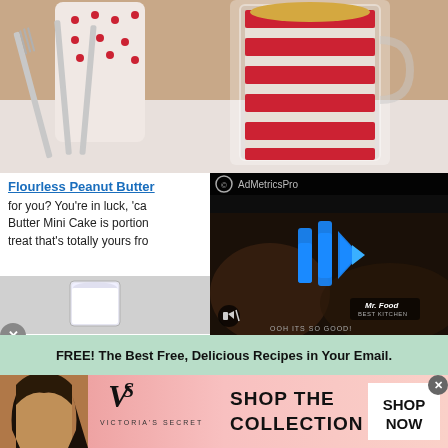[Figure (photo): Food photo showing a red and white striped mug/glass with a baked item (likely a mug cake) and two forks on a white surface]
Flourless Peanut Butter [truncated link]
for you? You're in luck, 'ca... Butter Mini Cake is portion... treat that's totally yours fro...
[Figure (photo): Thumbnail image showing a glass of milk]
[Figure (screenshot): Video overlay with AdMetricsPro branding, play button with blue speaker/audio icon design, mute button, Mr. Food Best Kitchen logo, and text 'OOH ITS SO GOOD!']
FREE! The Best Free, Delicious Recipes in Your Email.
[Figure (photo): Victoria's Secret advertisement banner showing a model, VS logo, text 'SHOP THE COLLECTION' and 'SHOP NOW' button]